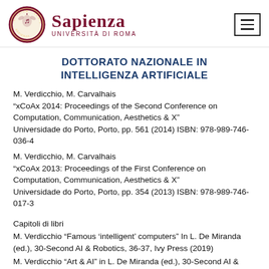[Figure (logo): Sapienza Università di Roma logo with seal and text, plus menu icon]
DOTTORATO NAZIONALE IN INTELLIGENZA ARTIFICIALE
M. Verdicchio, M. Carvalhais
“xCoAx 2014: Proceedings of the Second Conference on Computation, Communication, Aesthetics & X”
Universidade do Porto, Porto, pp. 561 (2014) ISBN: 978-989-746-036-4
M. Verdicchio, M. Carvalhais
“xCoAx 2013: Proceedings of the First Conference on Computation, Communication, Aesthetics & X”
Universidade do Porto, Porto, pp. 354 (2013) ISBN: 978-989-746-017-3
Capitoli di libri
M. Verdicchio “Famous ‘intelligent’ computers” In L. De Miranda (ed.), 30-Second AI & Robotics, 36-37, Ivy Press (2019)
M. Verdicchio “Art & AI” in L. De Miranda (ed.), 30-Second AI &